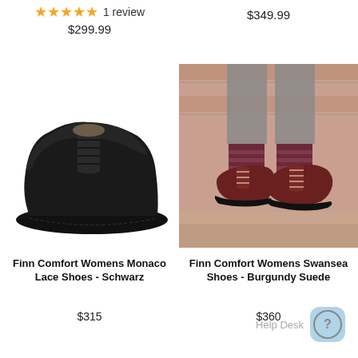★★★★★ 1 review
$299.99
$349.99
[Figure (photo): Black leather lace-up oxford shoe (Finn Comfort Womens Monaco) on white background]
[Figure (photo): Burgundy suede lace-up shoes (Finn Comfort Womens Swansea) worn on steps with striped socks and jeans]
Finn Comfort Womens Monaco Lace Shoes - Schwarz
$315
Finn Comfort Womens Swansea Shoes - Burgundy Suede
$360
Help Desk